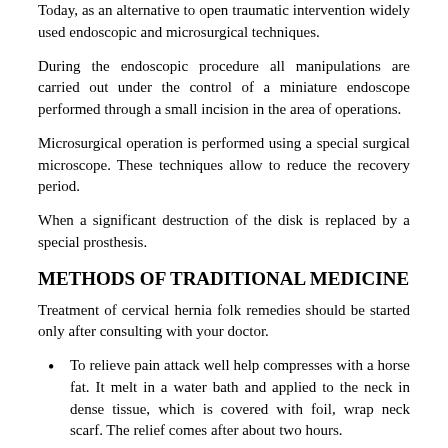Today, as an alternative to open traumatic intervention widely used endoscopic and microsurgical techniques.
During the endoscopic procedure all manipulations are carried out under the control of a miniature endoscope performed through a small incision in the area of operations.
Microsurgical operation is performed using a special surgical microscope. These techniques allow to reduce the recovery period.
When a significant destruction of the disk is replaced by a special prosthesis.
METHODS OF TRADITIONAL MEDICINE
Treatment of cervical hernia folk remedies should be started only after consulting with your doctor.
To relieve pain attack well help compresses with a horse fat. It melt in a water bath and applied to the neck in dense tissue, which is covered with foil, wrap neck scarf. The relief comes after about two hours.
rubbing the sore spot fir oil in the morning. In the evening, do a light massage with honey and Shilajit, then rubbed a warming ointment, for example, finalgon and left in place with a scarf. The course lasts for two weeks.